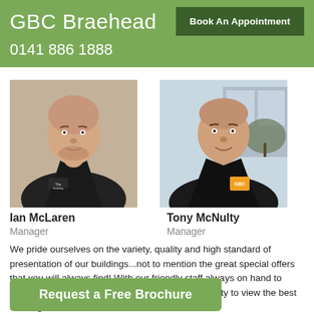GBC Braehead
Book An Appointment
0141 886 1888
[Figure (photo): Headshot of Ian McLaren, a man in a dark jacket and tie, standing indoors in front of a wall with documents.]
Ian McLaren
Manager
[Figure (photo): Headshot of Tony McNulty, a man in a dark branded jacket, standing outdoors.]
Tony McNulty
Manager
We pride ourselves on the variety, quality and high standard of presentation of our buildings...not to mention the great special offers that you will always find! With our friendly staff always on hand to assist you, please do come and take the opportunity to view the best buildings available in the UK.
Request a Free Brochure